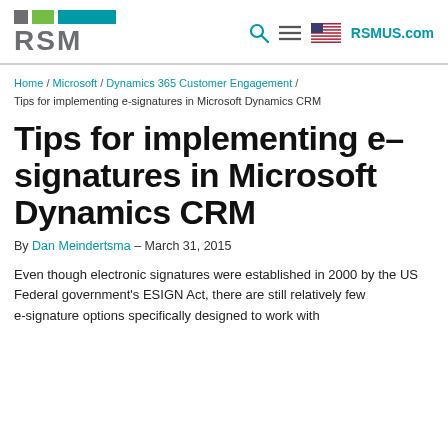RSM | RSMUS.com
Home / Microsoft / Dynamics 365 Customer Engagement / Tips for implementing e-signatures in Microsoft Dynamics CRM
Tips for implementing e-signatures in Microsoft Dynamics CRM
By Dan Meindertsma – March 31, 2015
Even though electronic signatures were established in 2000 by the US Federal government's ESIGN Act, there are still relatively few e-signature options specifically designed to work with